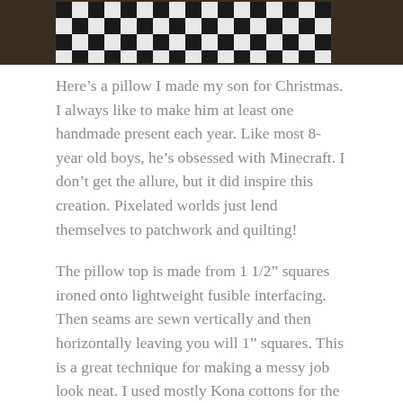[Figure (photo): Top portion of a Minecraft-themed patchwork quilt pillow showing a black, white, and gray checkerboard pixel pattern against a dark background.]
Here's a pillow I made my son for Christmas. I always like to make him at least one handmade present each year. Like most 8-year old boys, he's obsessed with Minecraft. I don't get the allure, but it did inspire this creation. Pixelated worlds just lend themselves to patchwork and quilting!
The pillow top is made from 1 1/2” squares ironed onto lightweight fusible interfacing.  Then seams are sewn vertically and then horizontally leaving you will 1” squares. This is a great technique for making a messy job look neat. I used mostly Kona cottons for the actual sword with a few prints thrown in the background just to break up the blue.